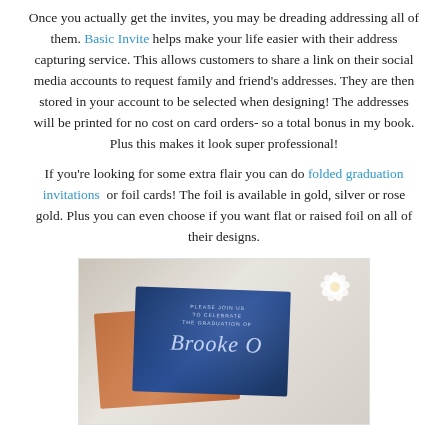Once you actually get the invites, you may be dreading addressing all of them. Basic Invite helps make your life easier with their address capturing service. This allows customers to share a link on their social media accounts to request family and friend's addresses. They are then stored in your account to be selected when designing! The addresses will be printed for no cost on card orders- so a total bonus in my book. Plus this makes it look super professional!
If you're looking for some extra flair you can do folded graduation invitations or foil cards! The foil is available in gold, silver or rose gold. Plus you can even choose if you want flat or raised foil on all of their designs.
[Figure (photo): A photo showing a dark navy blue graduation invitation card with silver foil script text reading 'Brooke' and formal invitation text, placed on top of a tan/rust colored envelope, with a white flower accent and light wood background.]